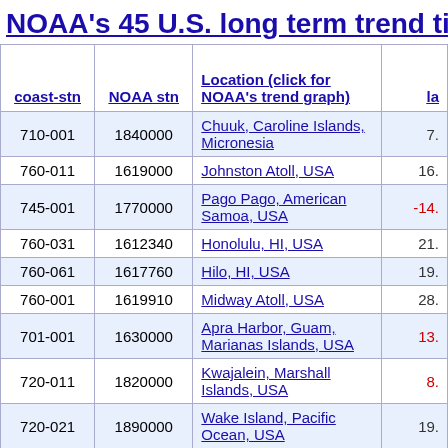NOAA's 45 U.S. long term trend tide stati...
| coast-stn | NOAA stn | Location (click for NOAA's trend graph) | la |
| --- | --- | --- | --- |
| 710-001 | 1840000 | Chuuk, Caroline Islands, Micronesia | 7. |
| 760-011 | 1619000 | Johnston Atoll, USA | 16. |
| 745-001 | 1770000 | Pago Pago, American Samoa, USA | -14. |
| 760-031 | 1612340 | Honolulu, HI, USA | 21. |
| 760-061 | 1617760 | Hilo, HI, USA | 19. |
| 760-001 | 1619910 | Midway Atoll, USA | 28. |
| 701-001 | 1630000 | Apra Harbor, Guam, Marianas Islands, USA | 13. |
| 720-011 | 1820000 | Kwajalein, Marshall Islands, USA | 8. |
| 720-021 | 1890000 | Wake Island, Pacific Ocean, USA | 19. |
| 950-011 | 2695540 | St Georges / Esso Pier, Bermuda | 32. |
| 960-201 | 8410140 | Eastport, ME, USA | 44. |
| 960-101 | 8410150 | Portland, ME, USA | 48. |